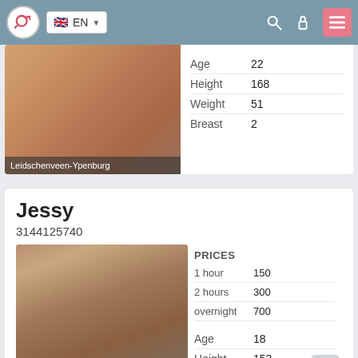EN
| Attribute | Value |
| --- | --- |
| Age | 22 |
| Height | 168 |
| Weight | 51 |
| Breast | 2 |
Leidschenveen-Ypenburg
Jessy
3144125740
| PRICES |  |
| --- | --- |
| 1 hour | 150 |
| 2 hours | 300 |
| overnight | 700 |
| Attribute | Value |
| --- | --- |
| Age | 18 |
| Height | 153 |
| Weight | 50 |